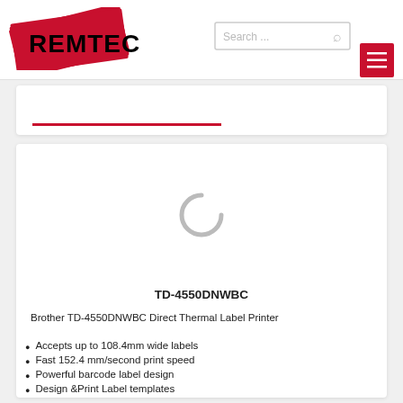[Figure (logo): REMTEC logo with red stacked card shapes and bold black text]
[Figure (screenshot): Search box with placeholder text 'Search ...' and search icon]
[Figure (other): Red hamburger menu button with three white horizontal lines]
[Figure (other): Partially visible white card with red underline]
[Figure (other): Loading spinner (grey arc) in center of product image area]
TD-4550DNWBC
Brother TD-4550DNWBC Direct Thermal Label Printer
Accepts up to 108.4mm wide labels
Fast 152.4 mm/second print speed
Powerful barcode label design
Design &Print Label templates